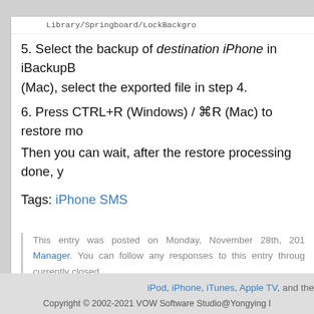[Figure (screenshot): Top portion of a file path shown as an icon/image bar: Library/Springboard/LockBackgro...]
5. Select the backup of destination iPhone in iBackupB (Mac), select the exported file in step 4.
6. Press CTRL+R (Windows) / ⌘R (Mac) to restore mo
Then you can wait, after the restore processing done, y
Tags: iPhone SMS
This entry was posted on Monday, November 28th, 201 Manager. You can follow any responses to this entry throug currently closed.
Comments Closed
Comments are
iPod, iPhone, iTunes, Apple TV, and the
Copyright © 2002-2021 VOW Software Studio@Yongying I